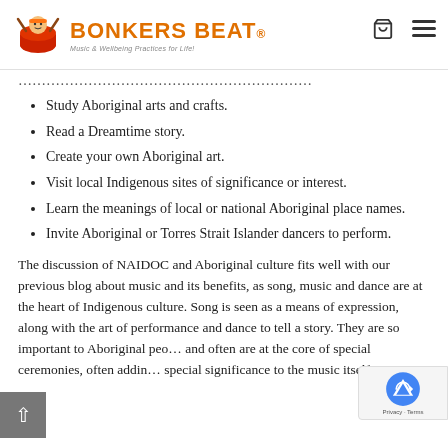Bonkers Beat – Music & Wellbeing Practices for Life!
Study Aboriginal arts and crafts.
Read a Dreamtime story.
Create your own Aboriginal art.
Visit local Indigenous sites of significance or interest.
Learn the meanings of local or national Aboriginal place names.
Invite Aboriginal or Torres Strait Islander dancers to perform.
The discussion of NAIDOC and Aboriginal culture fits well with our previous blog about music and its benefits, as song, music and dance are at the heart of Indigenous culture. Song is seen as a means of expression, along with the art of performance and dance to tell a story. They are so important to Aboriginal people and often are at the core of special ceremonies, often adding special significance to the music itself.